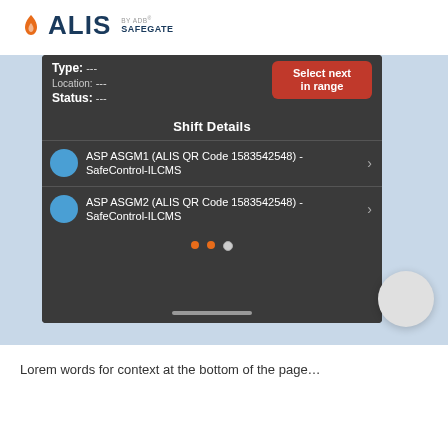[Figure (logo): ALIS by ADB Safegate logo — orange flame icon, dark blue ALIS text, ADB Safegate brand text]
[Figure (screenshot): Mobile app screenshot showing a dark-themed UI with Type/Location/Status fields (all showing ---), a red 'Select next in range' button, a 'Shift Details' section with two list items: 'ASP ASGM1 (ALIS QR Code 1583542548) - SafeControl-ILCMS' and 'ASP ASGM2 (ALIS QR Code 1583542548) - SafeControl-ILCMS', each with a blue circle icon and a chevron. Three pagination dots (two orange, one white) appear below. A white floating circle button appears in the lower-right corner of the background.]
Lorem words for context text at bottom of page (partially visible)